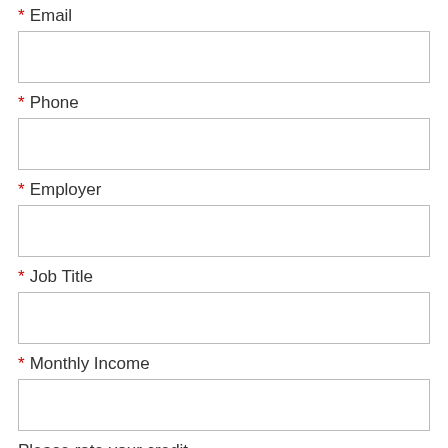* Email
* Phone
* Employer
* Job Title
* Monthly Income
Please rate your credit
Please enter your preferred agent